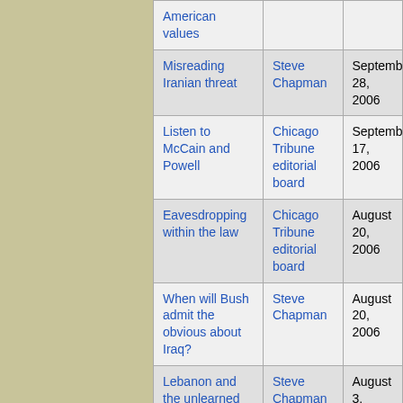| Title | Author | Date |
| --- | --- | --- |
| American values |  |  |
| Misreading Iranian threat | Steve Chapman | September 28, 2006 |
| Listen to McCain and Powell | Chicago Tribune editorial board | September 17, 2006 |
| Eavesdropping within the law | Chicago Tribune editorial board | August 20, 2006 |
| When will Bush admit the obvious about Iraq? | Steve Chapman | August 20, 2006 |
| Lebanon and the unlearned | Steve Chapman | August 3, 2006 |